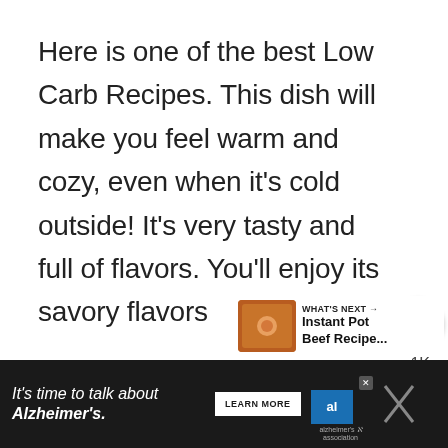Here is one of the best Low Carb Recipes. This dish will make you feel warm and cozy, even when it’s cold outside! It’s very tasty and full of flavors. You’ll enjoy its savory flavors
[Figure (infographic): Heart/like button icon with count 1K and share button]
[Figure (infographic): What's Next panel showing Instant Pot Beef Recipe thumbnail and label]
[Figure (infographic): Advertisement bar: It's time to talk about Alzheimer's. Learn More button, Alzheimer's Association logo, close button]